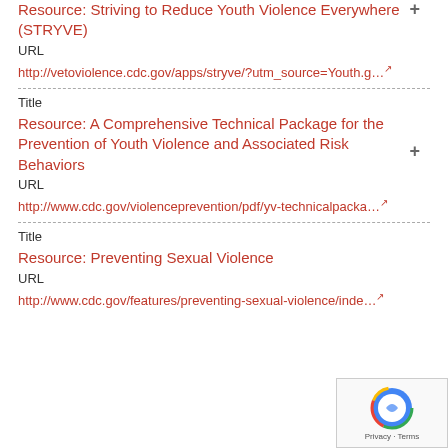Resource: Striving to Reduce Youth Violence Everywhere (STRYVE)
URL
http://vetoviolence.cdc.gov/apps/stryve/?utm_source=Youth.g…
Title
Resource: A Comprehensive Technical Package for the Prevention of Youth Violence and Associated Risk Behaviors
URL
http://www.cdc.gov/violenceprevention/pdf/yv-technicalpacka…
Title
Resource: Preventing Sexual Violence
URL
http://www.cdc.gov/features/preventing-sexual-violence/inde…